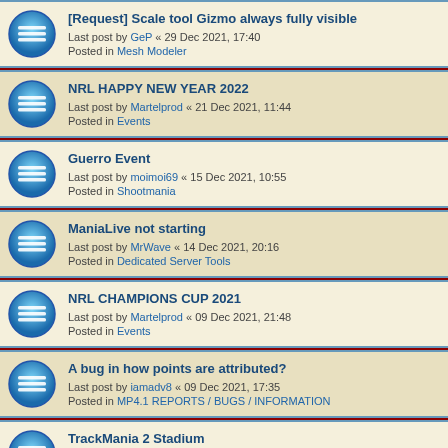[Request] Scale tool Gizmo always fully visible
Last post by GeP « 29 Dec 2021, 17:40
Posted in Mesh Modeler
NRL HAPPY NEW YEAR 2022
Last post by Martelprod « 21 Dec 2021, 11:44
Posted in Events
Guerro Event
Last post by moimoi69 « 15 Dec 2021, 10:55
Posted in Shootmania
ManiaLive not starting
Last post by MrWave « 14 Dec 2021, 20:16
Posted in Dedicated Server Tools
NRL CHAMPIONS CUP 2021
Last post by Martelprod « 09 Dec 2021, 21:48
Posted in Events
A bug in how points are attributed?
Last post by iamadv8 « 09 Dec 2021, 17:35
Posted in MP4.1 REPORTS / BUGS / INFORMATION
TrackMania 2 Stadium
Last post by WithoutEyes « 29 Nov 2021, 11:31
Posted in Trackmania 2
Total Time Mode
Last post by gogo42170 « 22 Nov 2021, 18:23
Posted in PyPlanet
Write a comment or register an email in the database
Last post by bern « 19 Nov 2021, 15:46
Posted in ...